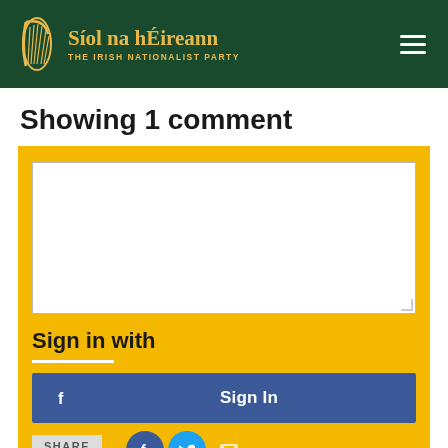Síol na hÉireann THE IRISH NATIONALIST PARTY
Showing 1 comment
[Figure (screenshot): Comment input box — yellow background section with white textarea, Sign in with heading, horizontal divider, Facebook Sign In button, share row with SHARE button and social icons (Facebook, Twitter, email), and partially visible Twitter Sign In button]
Sign in with
Sign In (Facebook)
Sign In (Twitter)
SHARE